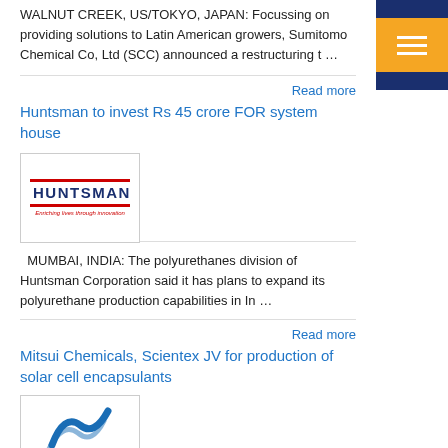WALNUT CREEK, US/TOKYO, JAPAN: Focussing on providing solutions to Latin American growers, Sumitomo Chemical Co, Ltd (SCC) announced a restructuring t ...
Read more
Huntsman to invest Rs 45 crore FOR system house
[Figure (logo): Huntsman Corporation logo with text 'Enriching lives through innovation']
MUMBAI, INDIA: The polyurethanes division of Huntsman Corporation said it has plans to expand its polyurethane production capabilities in In ...
Read more
Mitsui Chemicals, Scientex JV for production of solar cell encapsulants
[Figure (logo): Mitsui Chemicals logo - blue wave/swoosh graphic]